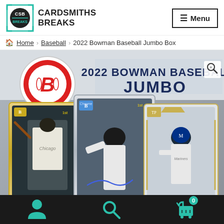[Figure (logo): Cardsmiths Breaks logo with CSB icon in teal/cyan square bracket design]
≡ Menu
🏠 Home › Baseball › 2022 Bowman Baseball Jumbo Box
[Figure (photo): 2022 Bowman Baseball Jumbo Box product image showing three baseball cards with players in White Sox, generic, and Mariners uniforms, with large '2022 BOWMAN BASEBALL JUMBO' text overlay and Bowman 'B' logo, plus CSB watermark]
[Figure (infographic): Bottom navigation bar with teal person icon, teal search/magnifying glass icon, and teal shopping cart icon with '0' badge]